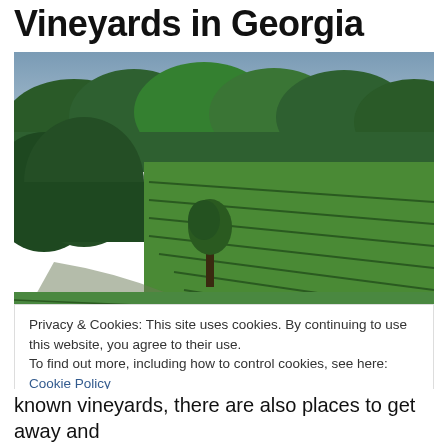Vineyards in Georgia
[Figure (photo): Aerial/elevated view of rolling green vineyard rows with a lone tree in the center, surrounded by dense forest in the background and a partly cloudy sky.]
Privacy & Cookies: This site uses cookies. By continuing to use this website, you agree to their use.
To find out more, including how to control cookies, see here: Cookie Policy
Close and accept
known vineyards, there are also places to get away and